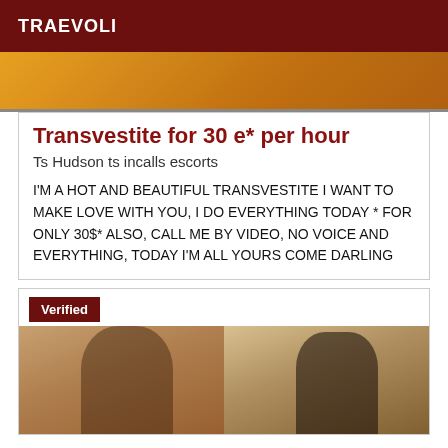TRAEVOLI
[Figure (photo): Top image strip showing warm golden/orange tones, partial view of a figure]
Transvestite for 30 e* per hour
Ts Hudson ts incalls escorts
I'M A HOT AND BEAUTIFUL TRANSVESTITE I WANT TO MAKE LOVE WITH YOU, I DO EVERYTHING TODAY * FOR ONLY 30$* ALSO, CALL ME BY VIDEO, NO VOICE AND EVERYTHING, TODAY I'M ALL YOURS COME DARLING
Verified
[Figure (photo): Two side-by-side photos of a person: left shows selfie with curly hair, right shows person with long straight hair in dark clothing]